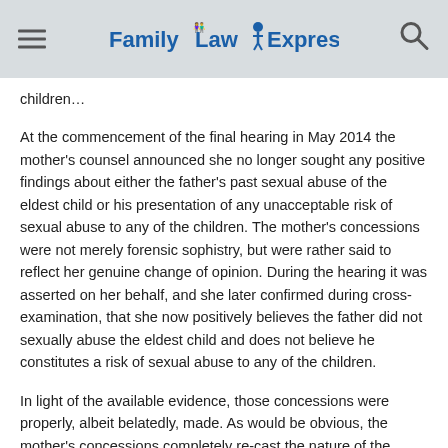FamilyLaw Express
children…
At the commencement of the final hearing in May 2014 the mother's counsel announced she no longer sought any positive findings about either the father's past sexual abuse of the eldest child or his presentation of any unacceptable risk of sexual abuse to any of the children. The mother's concessions were not merely forensic sophistry, but were rather said to reflect her genuine change of opinion. During the hearing it was asserted on her behalf, and she later confirmed during cross-examination, that she now positively believes the father did not sexually abuse the eldest child and does not believe he constitutes a risk of sexual abuse to any of the children.
In light of the available evidence, those concessions were properly, albeit belatedly, made. As would be obvious, the mother's concessions completely re-cast the nature of the litigation and now render it entirely unnecessary to discuss the evidence that related to the incident between the eldest child and the father in April 2011.